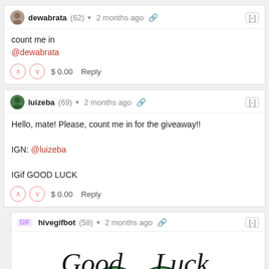dewabrata (62) ▾  2 months ago  🔗  [-]
count me in
@dewabrata
^ v  $ 0.00  Reply
luizeba (69) ▾  2 months ago  🔗  [-]
Hello, mate! Please, count me in for the giveaway!!

IGN: @luizeba

IGif GOOD LUCK
^ v  $ 0.00  Reply
hivegifbot (58) ▾  2 months ago  🔗  [-]
[Figure (illustration): Good Luck text with two green cartoon hand/foot shapes below it]